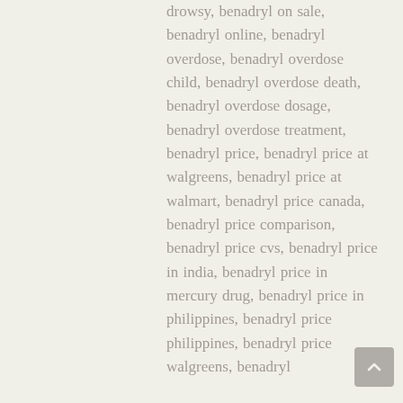drowsy, benadryl on sale, benadryl online, benadryl overdose, benadryl overdose child, benadryl overdose death, benadryl overdose dosage, benadryl overdose treatment, benadryl price, benadryl price at walgreens, benadryl price at walmart, benadryl price canada, benadryl price comparison, benadryl price cvs, benadryl price in india, benadryl price in mercury drug, benadryl price in philippines, benadryl price philippines, benadryl price walgreens, benadryl